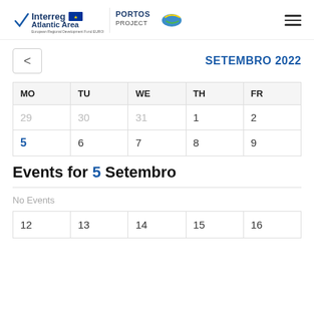Interreg Atlantic Area | PORTOS PROJECT
SETEMBRO 2022
| MO | TU | WE | TH | FR |
| --- | --- | --- | --- | --- |
| 29 | 30 | 31 | 1 | 2 |
| 5 | 6 | 7 | 8 | 9 |
Events for 5 Setembro
No Events
| MO | TU | WE | TH | FR |
| --- | --- | --- | --- | --- |
| 12 | 13 | 14 | 15 | 16 |